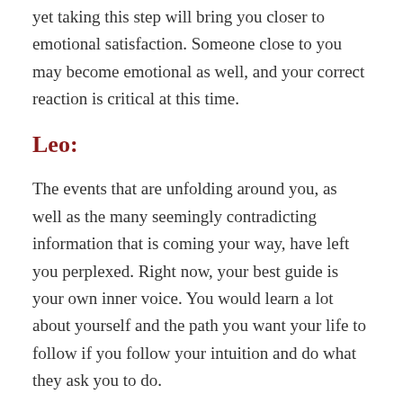yet taking this step will bring you closer to emotional satisfaction. Someone close to you may become emotional as well, and your correct reaction is critical at this time.
Leo:
The events that are unfolding around you, as well as the many seemingly contradicting information that is coming your way, have left you perplexed. Right now, your best guide is your own inner voice. You would learn a lot about yourself and the path you want your life to follow if you follow your intuition and do what they ask you to do.